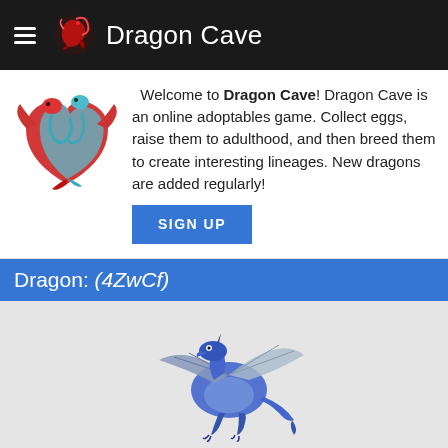Dragon Cave
Welcome to Dragon Cave! Dragon Cave is an online adoptables game. Collect eggs, raise them to adulthood, and then breed them to create interesting lineages. New dragons are added regularly!
Dragon: (4ZwCf)
[Figure (illustration): Pixel-art blue/grey dragon adult sprite facing left with spread wings]
| Stolen on: | Jan 20, 2020 |
| Hatched on: | Jan 25, 2020 |
| Grew up on: | Jan 28, 2020 |